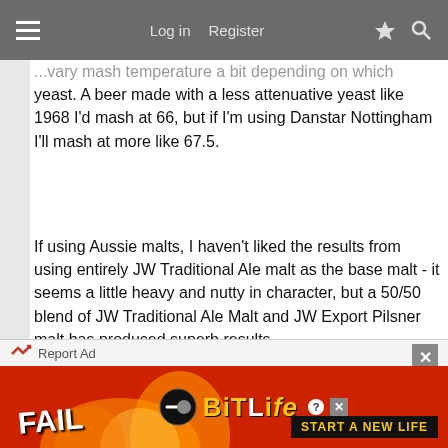Log in  Register
...vary mash temperature a bit depending on which yeast. A beer made with a less attenuative yeast like 1968 I'd mash at 66, but if I'm using Danstar Nottingham I'll mash at more like 67.5.
If using Aussie malts, I haven't liked the results from using entirely JW Traditional Ale malt as the base malt - it seems a little heavy and nutty in character, but a 50/50 blend of JW Traditional Ale Malt and JW Export Pilsner malt has produced superb results.
As far as water goes, my best results with Brisbane water have had 1 to 2 grams of Gypsum and 0.25g of Epsom Salts per 10 litres of water, which gives a nice sulphate crispness to the beer without going over the
[Figure (screenshot): BitLife advertisement banner with 'FAIL' text, anime character, flames, and 'START A NEW LIFE' tagline on red/orange background. Report Ad button at top left, close button at top right.]